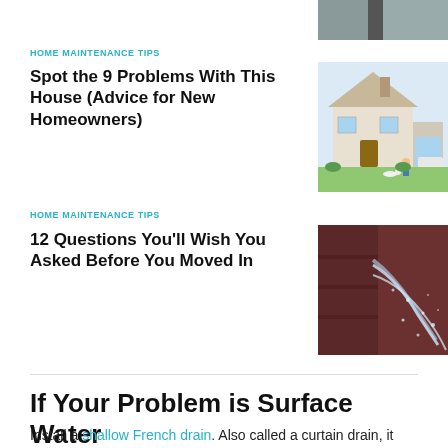[Figure (photo): Partial photo of a downspout or pipe, cropped at top]
HOME MAINTENANCE TIPS
Spot the 9 Problems With This House (Advice for New Homeowners)
[Figure (illustration): Illustration of a house exterior with a dog, person, and car in the driveway]
HOME MAINTENANCE TIPS
12 Questions You’ll Wish You Asked Before You Moved In
[Figure (photo): Photo of water spraying from a pipe or wall, rust-colored surface]
If Your Problem is Surface Water
Install a shallow French drain. Also called a curtain drain, it extends horizontally across your property